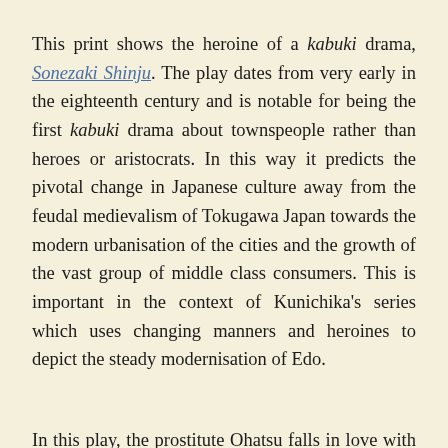This print shows the heroine of a kabuki drama, Sonezaki Shinju. The play dates from very early in the eighteenth century and is notable for being the first kabuki drama about townspeople rather than heroes or aristocrats. In this way it predicts the pivotal change in Japanese culture away from the feudal medievalism of Tokugawa Japan towards the modern urbanisation of the cities and the growth of the vast group of middle class consumers. This is important in the context of Kunichika’s series which uses changing manners and heroines to depict the steady modernisation of Edo.
In this play, the prostitute Ohatsu falls in love with the clerk Tokube. Tokube is betrothed against his will to his employee's niece, the dowry is misappropriated and used by the evil Kuheiji to entrap Ohatsu. The situation for the lovers seems hopeless. Broke and pursued from all sides they hide out in a wooden hut. Kuheiji taunts Ohatsu whilst Tokube hides under the step. Ohatsu talks loudly